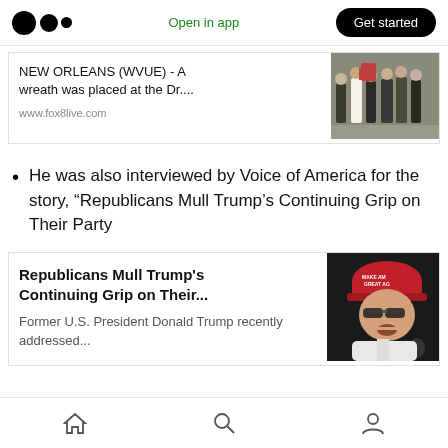Open in app   Get started
NEW ORLEANS (WVUE) - A wreath was placed at the Dr.... www.fox8live.com
[Figure (photo): Group of people walking outdoors, some carrying what appear to be wreaths]
He was also interviewed by Voice of America for the story, “Republicans Mull Trump’s Continuing Grip on Their Party
Republicans Mull Trump's Continuing Grip on Their...
Former U.S. President Donald Trump recently addressed...
[Figure (photo): Man wearing a red MAGA cap speaking at a microphone]
Home  Search  Profile